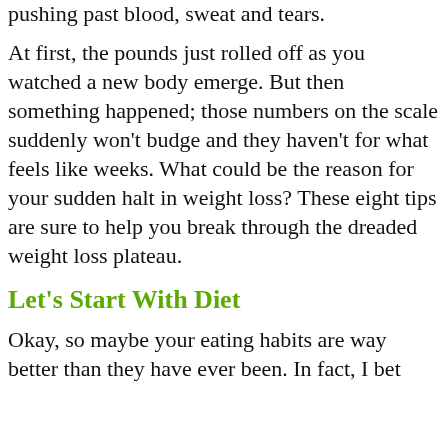pushing past blood, sweat and tears.
At first, the pounds just rolled off as you watched a new body emerge. But then something happened; those numbers on the scale suddenly won't budge and they haven't for what feels like weeks. What could be the reason for your sudden halt in weight loss? These eight tips are sure to help you break through the dreaded weight loss plateau.
Let's Start With Diet
Okay, so maybe your eating habits are way better than they have ever been. In fact, I bet